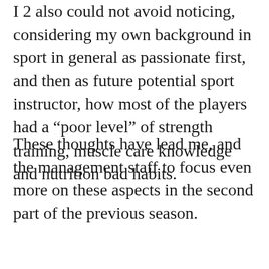I 2 also could not avoid noticing, considering my own background in sport in general as passionate first, and then as future potential sport instructor, how most of the players had a “poor level” of strength training, muscle care knowledge and nutrition bad habits.
These thoughts have lead me, and the management staff to focus even more on these aspects in the second part of the previous season.